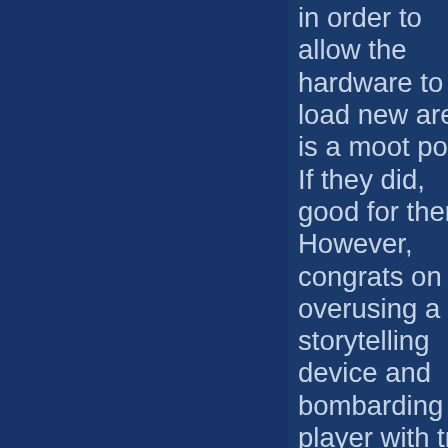in order to allow the hardware to load new areas is a moot point. If they did, good for them. However, congrats on overusing a storytelling device and bombarding the player with trite dialogs.

Near the end of the game, the Monitor